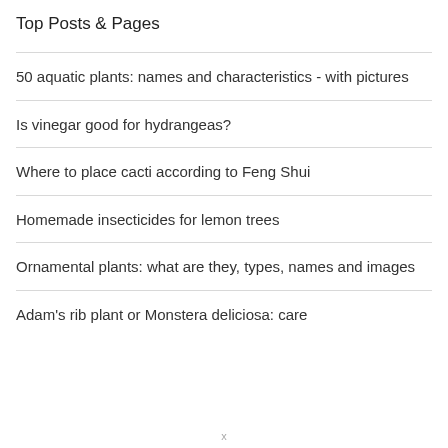Top Posts & Pages
50 aquatic plants: names and characteristics - with pictures
Is vinegar good for hydrangeas?
Where to place cacti according to Feng Shui
Homemade insecticides for lemon trees
Ornamental plants: what are they, types, names and images
Adam's rib plant or Monstera deliciosa: care